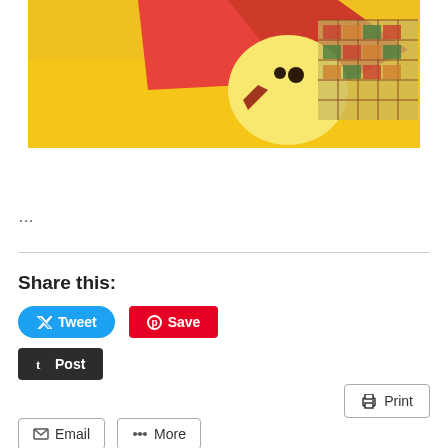[Figure (photo): Cropped photo showing colorful craft/quilted artwork with yellow, red, and patterned fabric pieces resembling a bird or animal figure]
...
Share this:
Tweet
Save
Post
Print
Email
More
Loading...